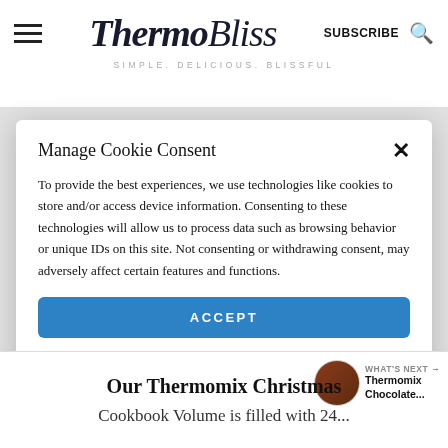ThermoBliss — SIMPLE. DELICIOUS. BLISSFUL
Manage Cookie Consent
To provide the best experiences, we use technologies like cookies to store and/or access device information. Consenting to these technologies will allow us to process data such as browsing behavior or unique IDs on this site. Not consenting or withdrawing consent, may adversely affect certain features and functions.
ACCEPT
Privacy Policy
WHAT'S NEXT → Thermomix Chocolate...
Our Thermomix Christmas
Cookbook Volume is filled with 24...